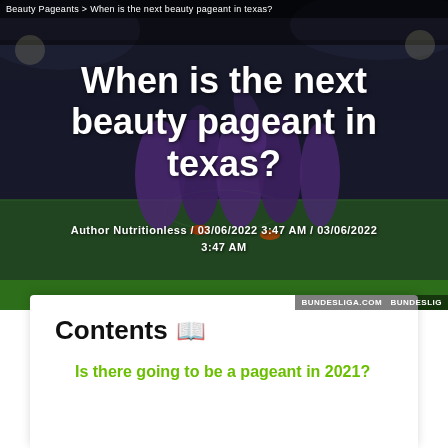Beauty Pageants > When is the next beauty pageant in texas?
When is the next beauty pageant in texas?
Author Nutritionless / 03/06/2022 3:47 AM / 03/06/2022 3:47 AM
[Figure (photo): Soccer players in purple uniforms celebrating on a green field, stadium with crowd in background, Bundesliga branding visible]
Contents
Is there going to be a pageant in 2021?